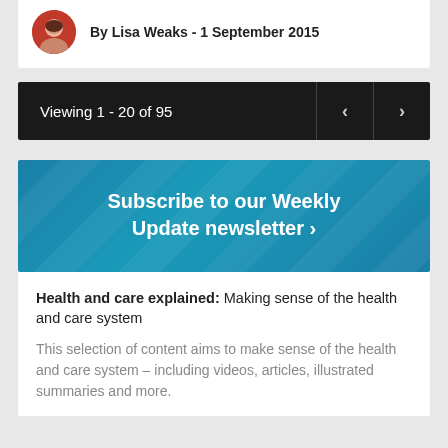By Lisa Weaks - 1 September 2015
Viewing 1 - 20 of 95
[Figure (other): Subscribe to our Weekly Update newsletter banner with chevron arrow]
Health and care explained: Making sense of the health and care system
This selection of content aims to make sense of the health and care system – including videos, articles, illustrated summaries and more.